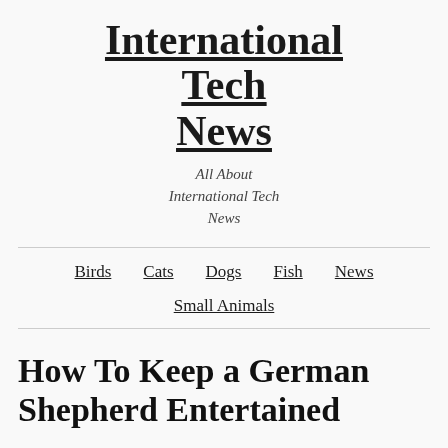International Tech News
All About International Tech News
Birds  Cats  Dogs  Fish  News  Small Animals
How To Keep a German Shepherd Entertained